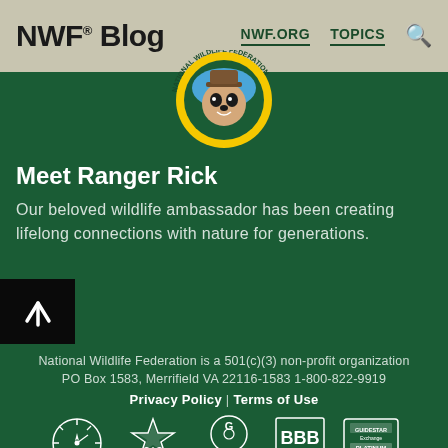NWF® Blog  NWF.ORG  TOPICS  🔍
[Figure (logo): National Wildlife Federation circular badge with raccoon illustration]
Meet Ranger Rick
Our beloved wildlife ambassador has been creating lifelong connections with nature for generations.
[Figure (other): Back to top arrow button (black background with upward arrow icon)]
National Wildlife Federation is a 501(c)(3) non-profit organization PO Box 1583, Merrifield VA 22116-1583 1-800-822-9919 Privacy Policy | Terms of Use
[Figure (logo): Row of five certification/rating logos: Charity Navigator, Top Rated, Mobile Giving Foundation, BBB, GuideStar Platinum]